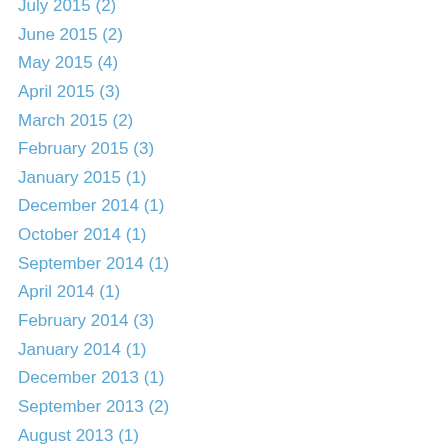July 2015 (2)
June 2015 (2)
May 2015 (4)
April 2015 (3)
March 2015 (2)
February 2015 (3)
January 2015 (1)
December 2014 (1)
October 2014 (1)
September 2014 (1)
April 2014 (1)
February 2014 (3)
January 2014 (1)
December 2013 (1)
September 2013 (2)
August 2013 (1)
July 2013 (2)
April 2013 (1)
March 2013 (2)
January 2013 (2)